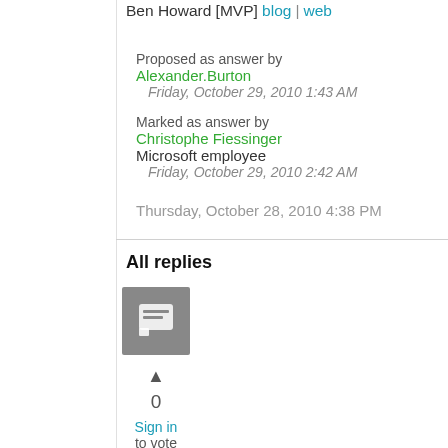Ben Howard [MVP] blog | web
Proposed as answer by Alexander.Burton Friday, October 29, 2010 1:43 AM
Marked as answer by Christophe Fiessinger Microsoft employee Friday, October 29, 2010 2:42 AM
Thursday, October 28, 2010 4:38 PM
All replies
[Figure (illustration): User avatar icon - grey square with white chat/person icon]
▲ 0 Sign in to vote